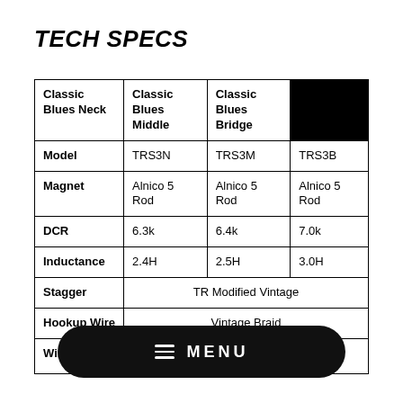TECH SPECS
| Classic Blues Neck | Classic Blues Middle | Classic Blues Bridge |  |
| --- | --- | --- | --- |
| Model | TRS3N | TRS3M | TRS3B |
| Magnet | Alnico 5 Rod | Alnico 5 Rod | Alnico 5 Rod |
| DCR | 6.3k | 6.4k | 7.0k |
| Inductance | 2.4H | 2.5H | 3.0H |
| Stagger | TR Modified Vintage (colspan 3) |
| Hookup Wire | Vintage Braid (colspan 3) |
| Winding | ... |  |  |